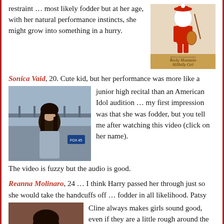restraint … most likely fodder but at her age, with her natural performance instincts, she might grow into something in a hurry.
[Figure (photo): Book or album cover for 'Rocky Mountain Hillbilly Girl' with a cartoon Santa figure playing a violin and text 'Multi-instrumentalist']
Sonica Vaid, 20. Cute kid, but her performance was more like a junior high recital than an American Idol audition … my first impression was that she was fodder, but you tell me after watching this video (click on her name). The video is fuzzy but the audio is good.
[Figure (photo): Young woman with long dark hair, hand raised to forehead, standing outdoors near water, with a Fox 45 news logo visible]
Reanna Molinaro, 24 … I think Harry passed her through just so she would take the handcuffs off … fodder in all likelihood. Patsy Cline always makes girls sound good, even if they are a little rough around the intonational edges.
[Figure (photo): Young dark-haired woman smiling, holding a drink, photographed at an event]